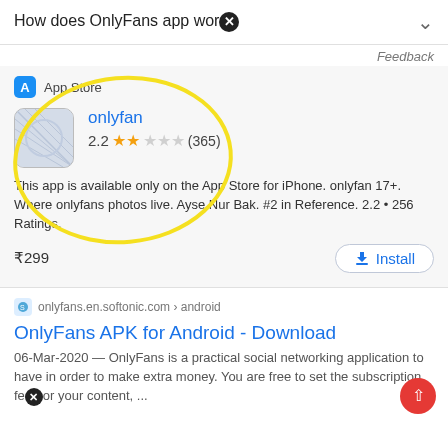How does OnlyFans app wor [x]
Feedback
App Store
onlyfan
2.2 ★★☆☆☆ (365)
This app is available only on the App Store for iPhone. onlyfan 17+. Where onlyfans photos live. Ayse Nur Bak. #2 in Reference. 2.2 • 256 Ratings.
₹299
Install
onlyfans.en.softonic.com › android
OnlyFans APK for Android - Download
06-Mar-2020 — OnlyFans is a practical social networking application to have in order to make extra money. You are free to set the subscription fee [x] or your content, ...